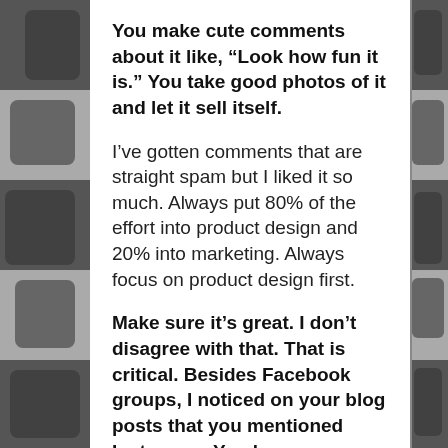You make cute comments about it like, “Look how fun it is.” You take good photos of it and let it sell itself.
I’ve gotten comments that are straight spam but I liked it so much. Always put 80% of the effort into product design and 20% into marketing. Always focus on product design first.
Make sure it’s great. I don’t disagree with that. That is critical. Besides Facebook groups, I noticed on your blog posts that you mentioned Instagram. You have some tips on how to make it work better on Instagram.